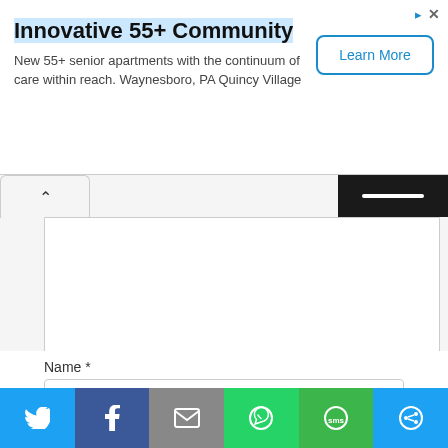[Figure (infographic): Advertisement banner for Innovative 55+ Community senior apartments. Contains title text, body text, and a Learn More button.]
Innovative 55+ Community
New 55+ senior apartments with the continuum of care within reach. Waynesboro, PA Quincy Village
Name *
Email *
[Figure (infographic): Social sharing bar with icons for Twitter, Facebook, Email, WhatsApp, SMS, and share button.]